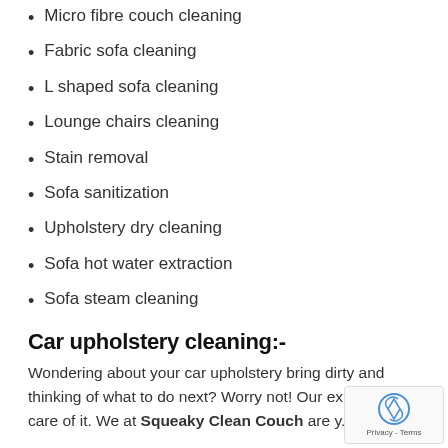Micro fibre couch cleaning
Fabric sofa cleaning
L shaped sofa cleaning
Lounge chairs cleaning
Stain removal
Sofa sanitization
Upholstery dry cleaning
Sofa hot water extraction
Sofa steam cleaning
Car upholstery cleaning:-
Wondering about your car upholstery bring dirty and thinking of what to do next? Worry not! Our experts take care of it. We at Squeaky Clean Couch are y...